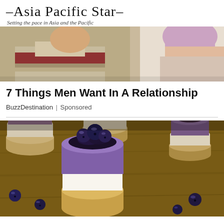–Asia Pacific Star–
Setting the pace in Asia and the Pacific
[Figure (photo): Two people photographed from shoulders up, one wearing a red and khaki striped shirt, the other with pink/lavender hair]
7 Things Men Want In A Relationship
BuzzDestination | Sponsored
[Figure (photo): Mini blueberry cheesecakes with purple mousse topping and fresh blueberries on a wooden board]